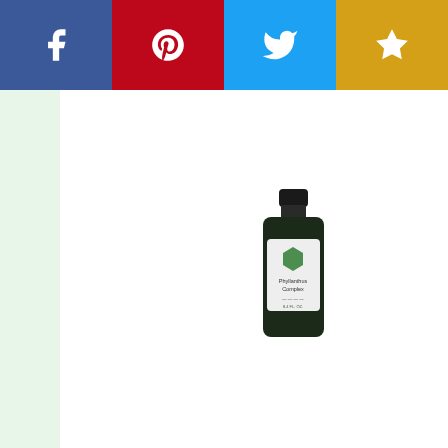[Figure (infographic): Social sharing bar with four buttons: Facebook (dark blue), Pinterest (red), Twitter (light blue), Star/bookmark (gold/yellow)]
[Figure (photo): Dark glass bottle of Phyllanthus Complex herbal supplement with green label, 8.4 FL. OZ. (250 mL)]
Phyllanthus Complex - 8.4 FL. OZ. (250 mL)
Phyllanthus Complex - 8.4 FL. OZ. (250 mL). A formula to assist the immune system against acute or chronic viral infections.1 tsp twice daily.Phyllanthus 1:1 (Phyllanthus amarus) Echinacea angustifolia ... 1:... Johns Wort ... 1:... (Hypericum perforatum) Deionized Water USP Grain Alc... Phyllanthus Complex - 8.4 FL. OZ. (250 mL).
Intolerance Comm...